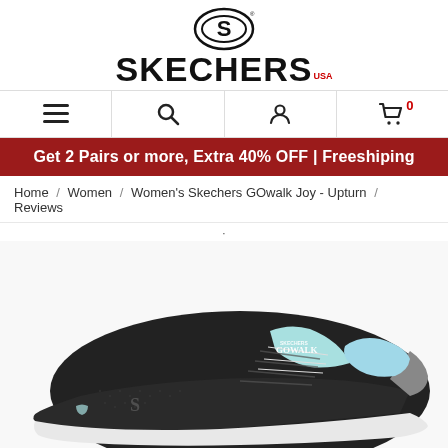[Figure (logo): Skechers USA logo with S symbol and brand name]
[Figure (infographic): Navigation bar with hamburger menu, search, account, and cart icons]
Get 2 Pairs or more, Extra 40% OFF | Freeshiping
Home / Women / Women's Skechers GOwalk Joy - Upturn / Reviews
·
[Figure (photo): Close-up photo of a Skechers GOwalk Joy - Upturn sneaker in black with light blue accents]